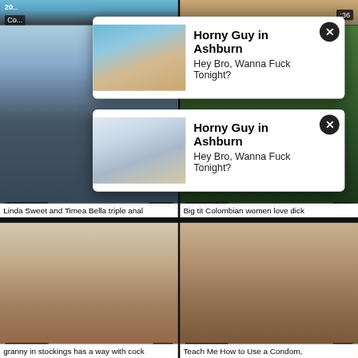[Figure (screenshot): Adult video thumbnail grid with two ad popups. Top-left partial thumbnail shows pool scene. Top-right partial shows indoor room. Mid-left thumbnail dated 2015-08-31, 33:07, titled 'Linda Sweet and Timea Bella triple anal'. Mid-right dated 2014-12-11, 7:00, titled 'Big tit Colombian women love dick'. Bottom-left dated 2021-02-11, 9:58, titled 'granny in stockings has a way with cock'. Bottom-right dated 2021-02-05, 1:01, titled 'Teach Me How to Use a Condom,'. Two ad popups overlay with text 'Horny Guy in Ashburn / Hey Bro, Wanna Fuck Tonight?']
Horny Guy in Ashburn
Hey Bro, Wanna Fuck Tonight?
Horny Guy in Ashburn
Hey Bro, Wanna Fuck Tonight?
Linda Sweet and Timea Bella triple anal
Big tit Colombian women love dick
granny in stockings has a way with cock
Teach Me How to Use a Condom,